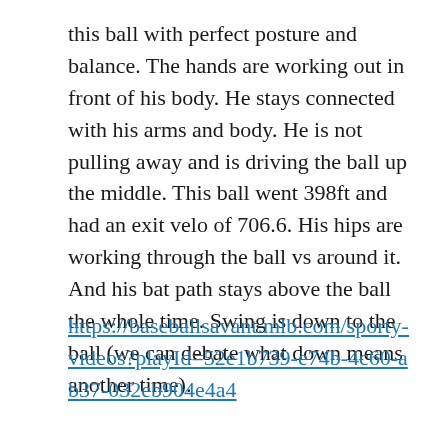this ball with perfect posture and balance. The hands are working out in front of his body. He stays connected with his arms and body. He is not pulling away and is driving the ball up the middle. This ball went 398ft and had an exit velo of 706.6. His hips are working through the ball vs around it. And his bat path stays above the ball the whole time. Swing is down to the ball (we can debate what down means another time).
https://baseballsavant.mlb.com/sporty-videos?playId=52e1b739-e74b-4c60-ab37-032eb904e4a4